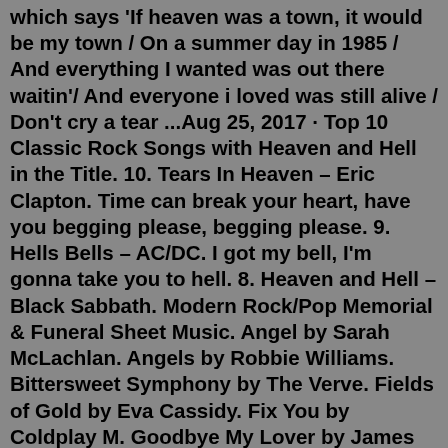which says 'If heaven was a town, it would be my town / On a summer day in 1985 / And everything I wanted was out there waitin'/ And everyone i loved was still alive / Don't cry a tear ...Aug 25, 2017 · Top 10 Classic Rock Songs with Heaven and Hell in the Title. 10. Tears In Heaven – Eric Clapton. Time can break your heart, have you begging please, begging please. 9. Hells Bells – AC/DC. I got my bell, I'm gonna take you to hell. 8. Heaven and Hell – Black Sabbath. Modern Rock/Pop Memorial & Funeral Sheet Music. Angel by Sarah McLachlan. Angels by Robbie Williams. Bittersweet Symphony by The Verve. Fields of Gold by Eva Cassidy. Fix You by Coldplay M. Goodbye My Lover by James Blunt. Hallelujah by Leonard Cohen. Halo by Beyoncé.Heaven Songs; Faith Songs; Blessed Songs; Hot New Songs Delivered Monthly! About Matthew Campbell. Matthew (Matt) Campbell is a veteran wedding DJ. He is the founder of My Wedding Songs and became a leader in the music industry by curating hundreds of wedding song lists for over 20